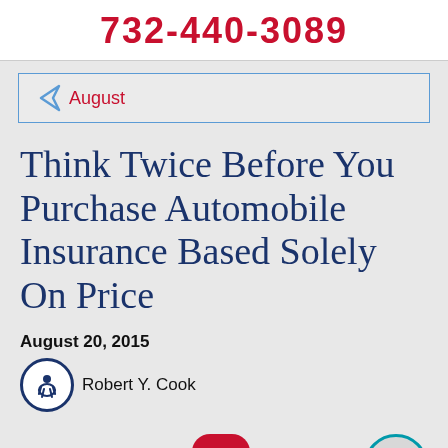732-440-3089
[Figure (other): Navigation bar with left-pointing chevron arrow and 'August' link in red text, inside a blue-bordered box on light grey background]
Think Twice Before You Purchase Automobile Insurance Based Solely On Price
August 20, 2015
Robert Y. Cook
[Figure (other): Row of social media / UI icons: accessibility circle (navy), Facebook (red circle), Twitter (red circle), Pinterest (red circle), bell/notification (red), chat bubble (teal circle outline)]